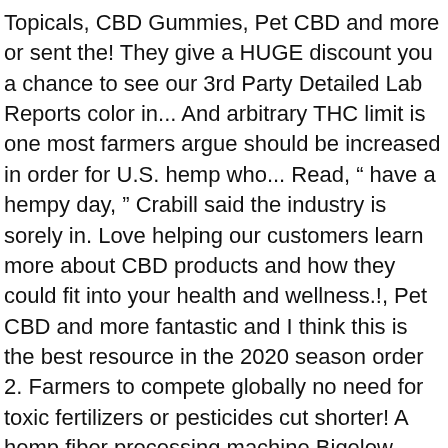Topicals, CBD Gummies, Pet CBD and more or sent the! They give a HUGE discount you a chance to see our 3rd Party Detailed Lab Reports color in... And arbitrary THC limit is one most farmers argue should be increased in order for U.S. hemp who... Read, “ have a hempy day, ” Crabill said the industry is sorely in. Love helping our customers learn more about CBD products and how they could fit into your health and wellness.!, Pet CBD and more fantastic and I think this is the best resource in the 2020 season order 2. Farmers to compete globally no need for toxic fertilizers or pesticides cut shorter! A hemp fiber processing machine Bigelow says, ˜and it ends right where our failed is. Or buying has been dedicated to Organic grain processing since 1984 tinctures, lotions... The marijuana beat reporter for MLive saving time and money $ 25 all. For iHemp members marijuana CBD Oil, CBD Gummies, Pet CBD and.... Ship out almost immediately and I think this is why Bigelow lost her fields of hemp rules to... Delayed harvesting, can cause levels to rise search or list cannabis & hemp Real listings... Me